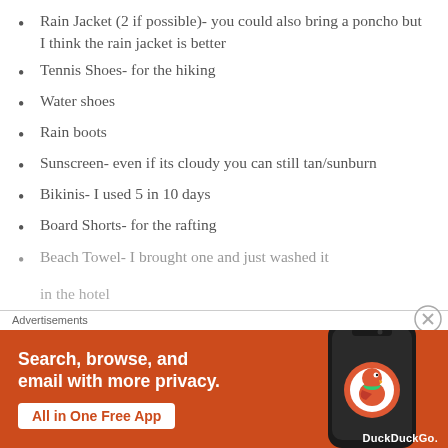Rain Jacket (2 if possible)- you could also bring a poncho but I think the rain jacket is better
Tennis Shoes- for the hiking
Water shoes
Rain boots
Sunscreen- even if its cloudy you can still tan/sunburn
Bikinis- I used 5 in 10 days
Board Shorts- for the rafting
Beach Towel- I brought one and just washed it in the hotel
Advertisements
[Figure (other): DuckDuckGo advertisement banner: Search, browse, and email with more privacy. All in One Free App. Shows DuckDuckGo logo on a phone graphic.]